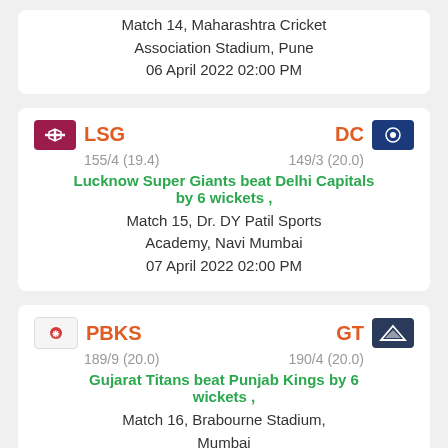Match 14, Maharashtra Cricket Association Stadium, Pune
06 April 2022 02:00 PM
LSG  DC
155/4 (19.4)  149/3 (20.0)
Lucknow Super Giants beat Delhi Capitals by 6 wickets ,
Match 15, Dr. DY Patil Sports Academy, Navi Mumbai
07 April 2022 02:00 PM
PBKS  GT
189/9 (20.0)  190/4 (20.0)
Gujarat Titans beat Punjab Kings by 6 wickets ,
Match 16, Brabourne Stadium, Mumbai
08 April 2022 02:00 PM